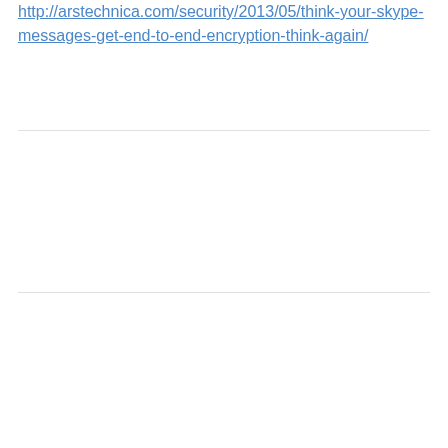http://arstechnica.com/security/2013/05/think-your-skype-messages-get-end-to-end-encryption-think-again/
All Posts   Patient Information
Powered by WordPress / Academica WordPress Theme by WPZOOM